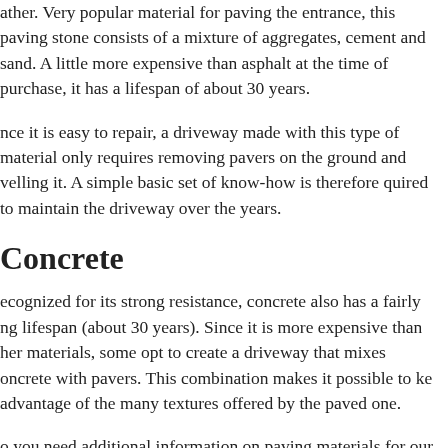ather. Very popular material for paving the entrance, this paving stone consists of a mixture of aggregates, cement and sand. A little more expensive than asphalt at the time of purchase, it has a lifespan of about 30 years.
Since it is easy to repair, a driveway made with this type of material only requires removing pavers on the ground and levelling it. A simple basic set of know-how is therefore required to maintain the driveway over the years.
Concrete
Recognized for its strong resistance, concrete also has a fairly long lifespan (about 30 years). Since it is more expensive than other materials, some opt to create a driveway that mixes concrete with pavers. This combination makes it possible to take advantage of the many textures offered by the paved zone.
Do you need additional information on paving materials for your entrance? Here are some reading suggestions for you: